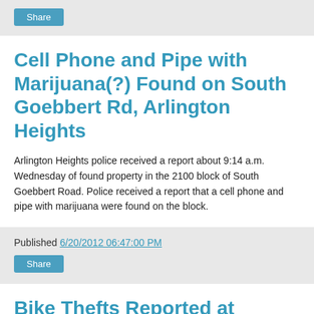[Figure (other): Share button in gray bar at top]
Cell Phone and Pipe with Marijuana(?) Found on South Goebbert Rd, Arlington Heights
Arlington Heights police received a report about 9:14 a.m. Wednesday of found property in the 2100 block of South Goebbert Road. Police received a report that a cell phone and pipe with marijuana were found on the block.
Published 6/20/2012 06:47:00 PM
[Figure (other): Share button in gray bar]
Bike Thefts Reported at Apartment on East Fairview, Arlington Heights